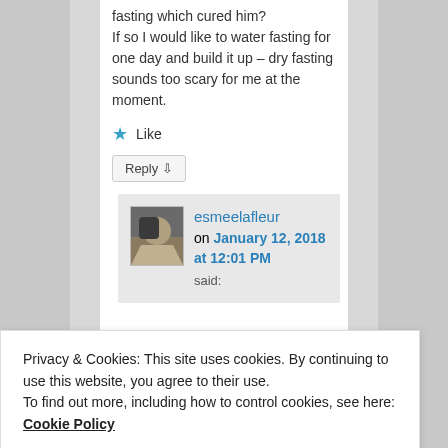fasting which cured him? If so I would like to water fasting for one day and build it up – dry fasting sounds too scary for me at the moment.
★ Like
Reply ↓
esmeelafleur on January 12, 2018 at 12:01 PM said:
Privacy & Cookies: This site uses cookies. By continuing to use this website, you agree to their use.
To find out more, including how to control cookies, see here: Cookie Policy
Close and accept
Facebook group Principia